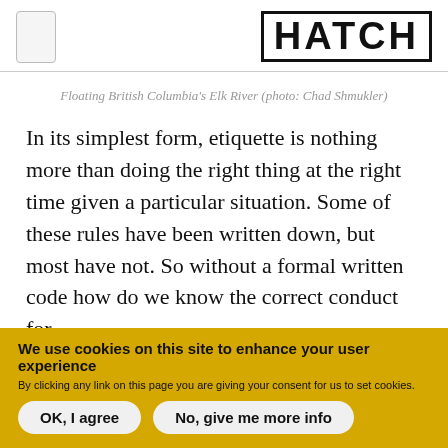HATCH
Floating British Columbia's Elk River (photo: Chad Shmukler)
In its simplest form, etiquette is nothing more than doing the right thing at the right time given a particular situation. Some of these rules have been written down, but most have not. So without a formal written code how do we know the correct conduct for
We use cookies on this site to enhance your user experience
By clicking any link on this page you are giving your consent for us to set cookies.
OK, I agree   No, give me more info